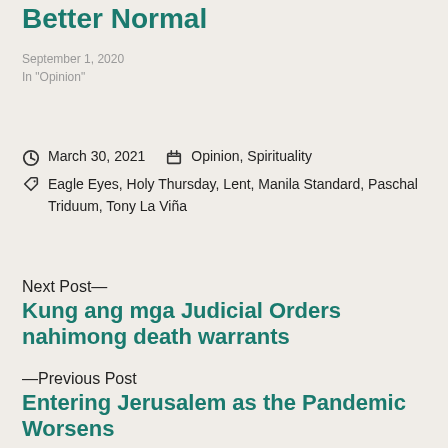Better Normal
September 1, 2020
In "Opinion"
March 30, 2021   Opinion, Spirituality
Eagle Eyes, Holy Thursday, Lent, Manila Standard, Paschal Triduum, Tony La Viña
Next Post—
Kung ang mga Judicial Orders nahimong death warrants
—Previous Post
Entering Jerusalem as the Pandemic Worsens